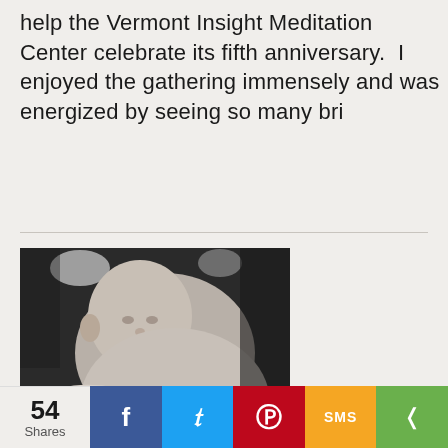help the Vermont Insight Meditation Center celebrate its fifth anniversary.  I enjoyed the gathering immensely and was energized by seeing so many bri
[Figure (photo): Black and white photograph of a baby lying on a blanket or soft surface, propped up slightly, looking toward the camera.]
My Secret Siblings
54 Shares | Facebook | Twitter | Pinterest | SMS | Share